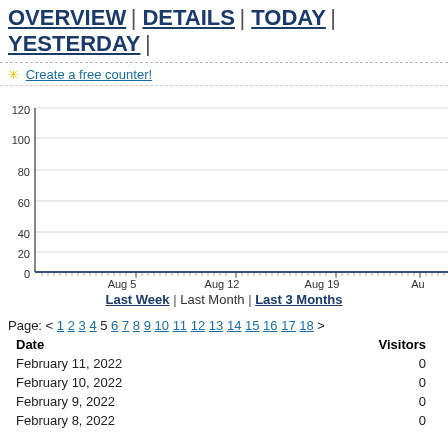OVERVIEW | DETAILS | TODAY | YESTERDAY |
✳ Create a free counter!
[Figure (line-chart): Visitors chart]
Last Week | Last Month | Last 3 Months
Page: < 1 2 3 4 5 6 7 8 9 10 11 12 13 14 15 16 17 18 >
| Date | Visitors |
| --- | --- |
| February 11, 2022 | 0 |
| February 10, 2022 | 0 |
| February 9, 2022 | 0 |
| February 8, 2022 | 0 |